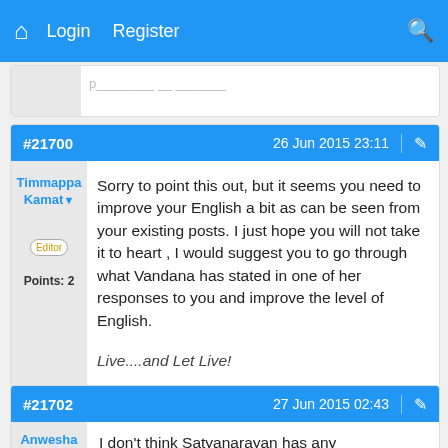Login  Register
#21700  26 Jun 2015 23:11
Timmappa Kamat
Editor
Points: 2

Sorry to point this out, but it seems you need to improve your English a bit as can be seen from your existing posts. I just hope you will not take it to heart , I would suggest you to go through what Vandana has stated in one of her responses to you and improve the level of English.

Live....and Let Live!
#21702  27 Jun 2015 02:43
Anwesha

I don't think Satyanarayan has any